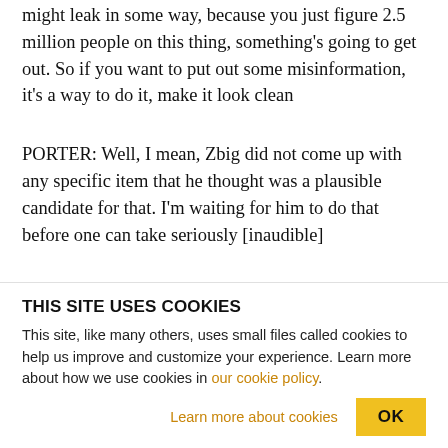might leak in some way, because you just figure 2.5 million people on this thing, something's going to get out. So if you want to put out some misinformation, it's a way to do it, make it look clean
PORTER: Well, I mean, Zbig did not come up with any specific item that he thought was a plausible candidate for that. I'm waiting for him to do that before one can take seriously [inaudible]
MCGOVERN: Yeah, I wouldn't buy that, Paul. That's
THIS SITE USES COOKIES
This site, like many others, uses small files called cookies to help us improve and customize your experience. Learn more about how we use cookies in our cookie policy.